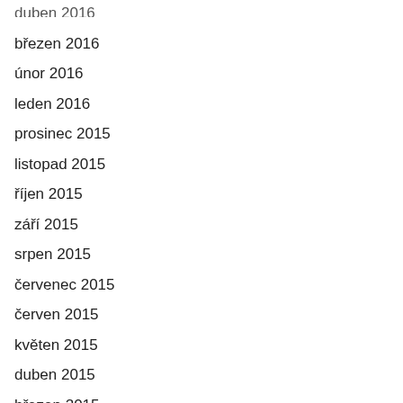duben 2016
březen 2016
únor 2016
leden 2016
prosinec 2015
listopad 2015
říjen 2015
září 2015
srpen 2015
červenec 2015
červen 2015
květen 2015
duben 2015
březen 2015